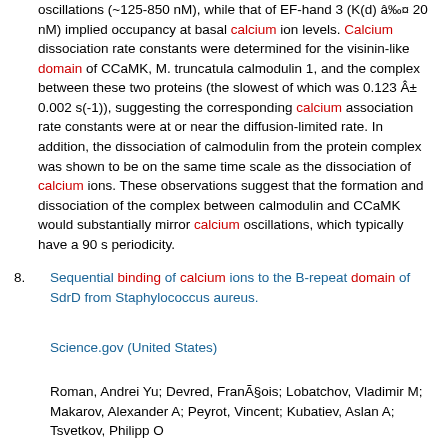oscillations (~125-850 nM), while that of EF-hand 3 (K(d) ≈ 20 nM) implied occupancy at basal calcium ion levels. Calcium dissociation rate constants were determined for the visinin-like domain of CCaMK, M. truncatula calmodulin 1, and the complex between these two proteins (the slowest of which was 0.123 ± 0.002 s(-1)), suggesting the corresponding calcium association rate constants were at or near the diffusion-limited rate. In addition, the dissociation of calmodulin from the protein complex was shown to be on the same time scale as the dissociation of calcium ions. These observations suggest that the formation and dissociation of the complex between calmodulin and CCaMK would substantially mirror calcium oscillations, which typically have a 90 s periodicity.
8. Sequential binding of calcium ions to the B-repeat domain of SdrD from Staphylococcus aureus.
Science.gov (United States)
Roman, Andrei Yu; Devred, François; Lobatchov, Vladimir M; Makarov, Alexander A; Peyrot, Vincent; Kubatiev, Aslan A; Tsvetkov, Philipp O